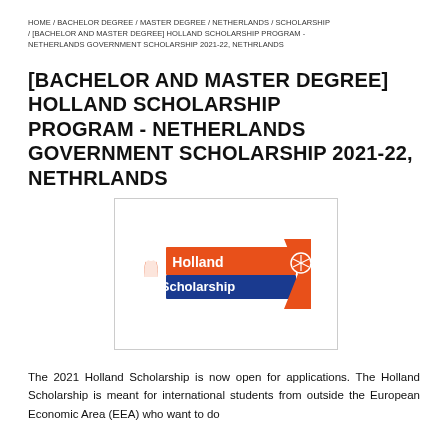HOME / BACHELOR DEGREE / MASTER DEGREE / NETHERLANDS / SCHOLARSHIP / [BACHELOR AND MASTER DEGREE] HOLLAND SCHOLARSHIP PROGRAM - NETHERLANDS GOVERNMENT SCHOLARSHIP 2021-22, NETHRLANDS
[BACHELOR AND MASTER DEGREE] HOLLAND SCHOLARSHIP PROGRAM - NETHERLANDS GOVERNMENT SCHOLARSHIP 2021-22, NETHRLANDS
[Figure (logo): Holland Scholarship logo with orange background, white tulip/map icon on the left, 'Holland' text in white on orange band, 'Scholarship' text in white on blue band, and an orange ribbon badge on the right with a snowflake/star pattern.]
The 2021 Holland Scholarship is now open for applications. The Holland Scholarship is meant for international students from outside the European Economic Area (EEA) who want to do